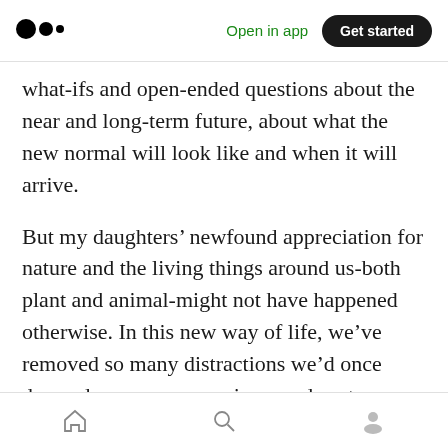Medium app header — logo, Open in app, Get started
what-ifs and open-ended questions about the near and long-term future, about what the new normal will look like and when it will arrive.
But my daughters’ newfound appreciation for nature and the living things around us-both plant and animal-might not have happened otherwise. In this new way of life, we’ve removed so many distractions we’d once deemed necessary, opening our days to wondrous opportunities.
Underlying the challenges we face is an
Bottom navigation bar: home, search, profile